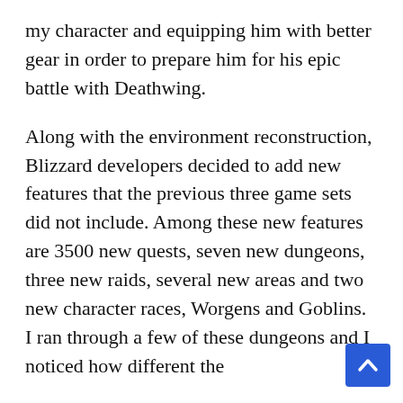my character and equipping him with better gear in order to prepare him for his epic battle with Deathwing.
Along with the environment reconstruction, Blizzard developers decided to add new features that the previous three game sets did not include. Among these new features are 3500 new quests, seven new dungeons, three new raids, several new areas and two new character races, Worgens and Goblins. I ran through a few of these dungeons and I noticed how different the